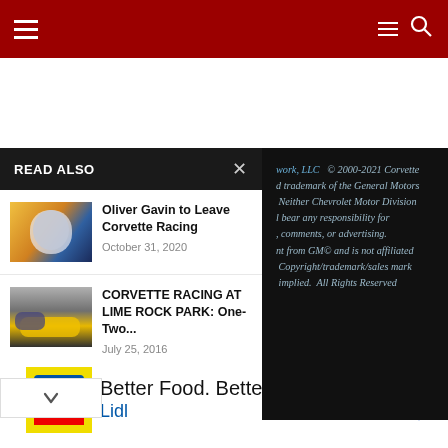Navigation bar with hamburger menu and search icon
READ ALSO
Oliver Gavin to Leave Corvette Racing — October 31, 2020
CORVETTE RACING AT LIME ROCK PARK: One-Two... — July 25, 2016
work, LLC  © 2000-2021 Corvette d trademark of the General Motors  Neither Chevrolet Motor Division l bear any responsibility for , comments, or advertising. nt from GM© and is not affiliated  Copyright/trademark/sales mark  implied.  All Rights Reserved
[Figure (other): Advertisement banner for Lidl: Better Food. Betterer Prices. Lidl]